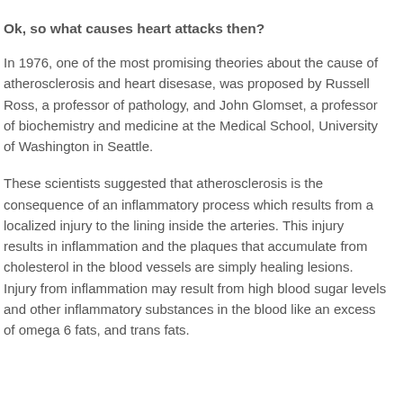Ok, so what causes heart attacks then?
In 1976, one of the most promising theories about the cause of atherosclerosis and heart disesase, was proposed by Russell Ross, a professor of pathology, and John Glomset, a professor of biochemistry and medicine at the Medical School, University of Washington in Seattle.
These scientists suggested that atherosclerosis is the consequence of an inflammatory process which results from a localized injury to the lining inside the arteries. This injury results in inflammation and the plaques that accumulate from cholesterol in the blood vessels are simply healing lesions. Injury from inflammation may result from high blood sugar levels and other inflammatory substances in the blood like an excess of omega 6 fats, and trans fats.